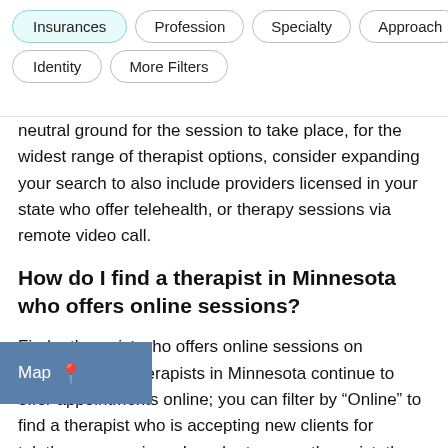[Figure (screenshot): Filter bar with pill-shaped buttons: Insurances (active/teal), Profession, Specialty, Approach, Identity, More Filters]
neutral ground for the session to take place, for the widest range of therapist options, consider expanding your search to also include providers licensed in your state who offer telehealth, or therapy sessions via remote video call.
How do I find a therapist in Minnesota who offers online sessions?
Find a therapist who offers online sessions on Zencare. Most therapists in Minnesota continue to offer appointments online; you can filter by “Online” to find a therapist who is accepting new clients for teletherapy sessions. In order to see a therapist, they must be licensed to provide online sessions to clients living in
[Figure (screenshot): Map button overlay in bottom-left corner with location pin icon]